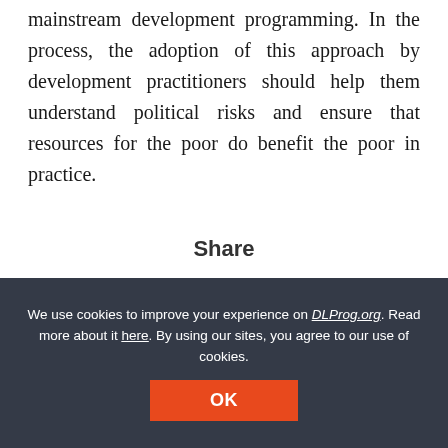mainstream development programming. In the process, the adoption of this approach by development practitioners should help them understand political risks and ensure that resources for the poor do benefit the poor in practice.
Share
We use cookies to improve your experience on DLProg.org. Read more about it here. By using our sites, you agree to our use of cookies.